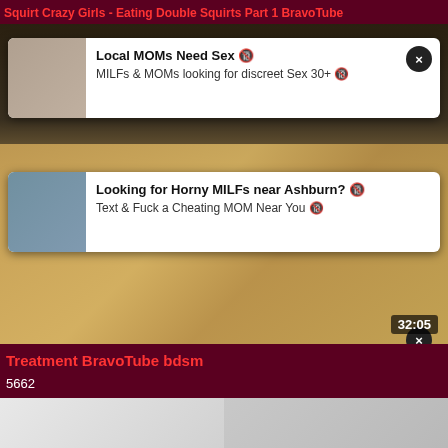Squirt Crazy Girls - Eating Double Squirts Part 1 BravoTube
[Figure (screenshot): Video thumbnail with two ad popups overlay. First ad: 'Local MOMs Need Sex' / 'MILFs & MOMs looking for discreet Sex 30+'. Second ad: 'Looking for Horny MILFs near Ashburn?' / 'Text & Fuck a Cheating MOM Near You'. Video timestamp 32:05 shown bottom right.]
Treatment BravoTube bdsm
5662
[Figure (screenshot): Bottom partial video thumbnail showing two people]